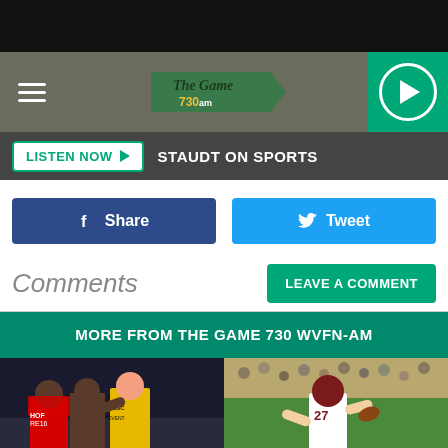[Figure (screenshot): Black top bar]
The Game 730am — header with hamburger menu and play button
LISTEN NOW ▶   STAUDT ON SPORTS
Share
Tweet
Comments
LEAVE A COMMENT
MORE FROM THE GAME 730 WVFN-AM
[Figure (photo): Football players in altercation on sideline, one shirtless, CSC Event Security staff in yellow jacket visible]
[Figure (photo): Football player #27 in white uniform running with ball during a game]